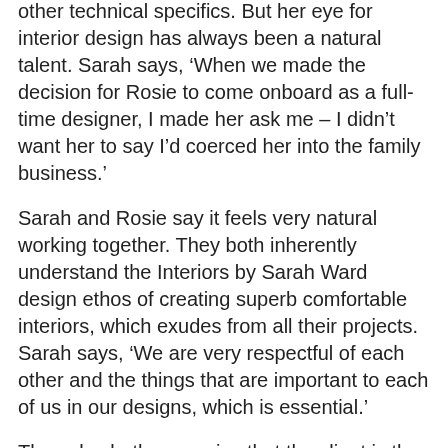other technical specifics. But her eye for interior design has always been a natural talent. Sarah says, ‘When we made the decision for Rosie to come onboard as a full-time designer, I made her ask me – I didn’t want her to say I’d coerced her into the family business.’
Sarah and Rosie say it feels very natural working together. They both inherently understand the Interiors by Sarah Ward design ethos of creating superb comfortable interiors, which exudes from all their projects. Sarah says, ‘We are very respectful of each other and the things that are important to each of us in our designs, which is essential.’
They also both recognise that the client is the most important person in the room. Their design process involves getting to know each client, really drawing out their preferences, desires and needs for the project, then